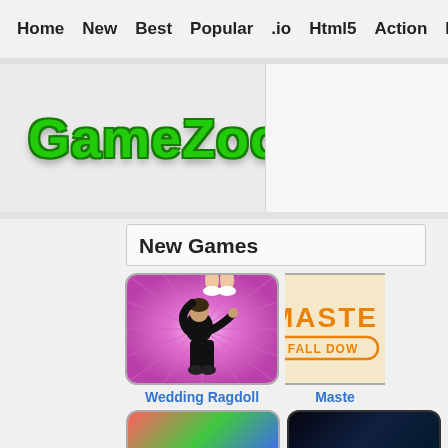Home  New  Best  Popular  .io  Html5  Action  Funny  Classic  S
[Figure (logo): GameZoo.net logo in large green bold text with dark green outline and shadow on light gray background]
New Games
[Figure (photo): Wedding Ragdoll game thumbnail - man in black suit on pink/purple radial burst background with woman's legs visible at top]
Wedding Ragdoll
[Figure (photo): Master Fall Down game thumbnail - orange text on beige background reading MASTER with FALL DOWN in oval border]
Maste
[Figure (photo): Partial game thumbnail bottom left - colorful characters visible]
[Figure (photo): Partial game thumbnail bottom right - dark background with glowing elements]